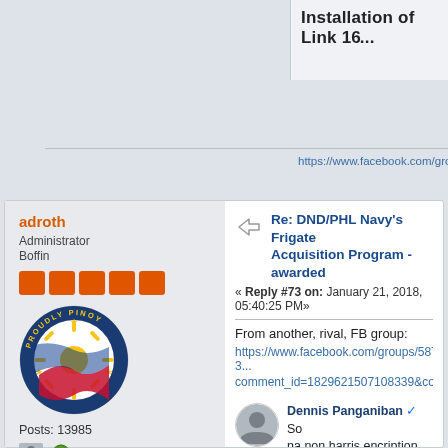Installation of Link 16...
https://www.facebook.com/groups/rpdefense/
adroth
Administrator
Boffin
Posts: 13985
Re: DND/PHL Navy's Frigate Acquisition Program - awarded
« Reply #73 on: January 21, 2018, 05:40:25 PM»
From another, rival, FB group:
https://www.facebook.com/groups/587923...comment_id=1829621507108339&comm...
Dennis Panganiban ✔ So na non harris encription com harris base system ng allied performance requirements n Mismo..isang process of co
Like · Reply · See Translation
Adroth Singko Dennis Par and Link22 Tactical Data Li place? The RAF alread...